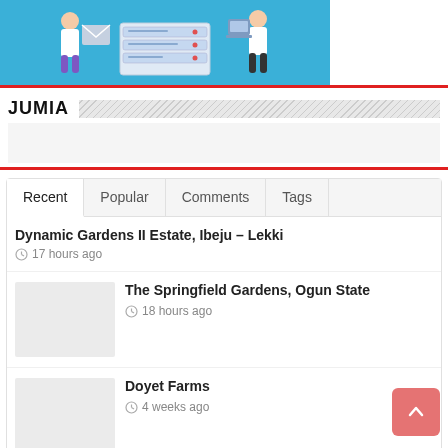[Figure (illustration): Banner image showing illustrated people holding documents and server/data graphics on a blue background]
JUMIA
Dynamic Gardens II Estate, Ibeju – Lekki — 17 hours ago
The Springfield Gardens, Ogun State — 18 hours ago
Doyet Farms — 4 weeks ago